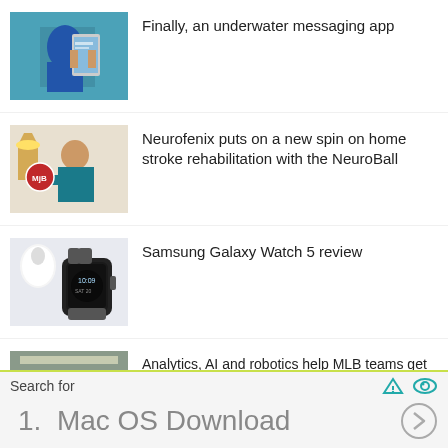Finally, an underwater messaging app
Neurofenix puts on a new spin on home stroke rehabilitation with the NeuroBall
Samsung Galaxy Watch 5 review
Analytics, AI and robotics help MLB teams get a step closer to a perfect pitching machine
Search for
1.  Mac OS Download